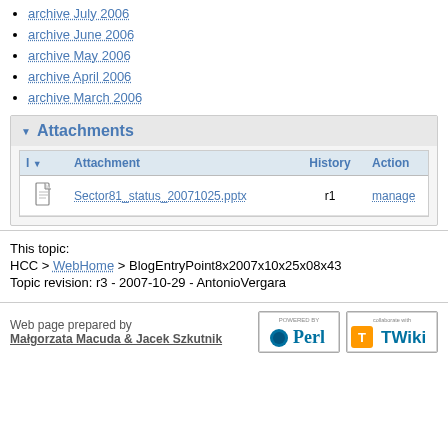archive July 2006
archive June 2006
archive May 2006
archive April 2006
archive March 2006
Attachments
| I | Attachment | History | Action |
| --- | --- | --- | --- |
| [icon] | Sector81_status_20071025.pptx | r1 | manage |
This topic:
HCC > WebHome > BlogEntryPoint8x2007x10x25x08x43
Topic revision: r3 - 2007-10-29 - AntonioVergara
Web page prepared by Małgorzata Macuda & Jacek Szkutnik